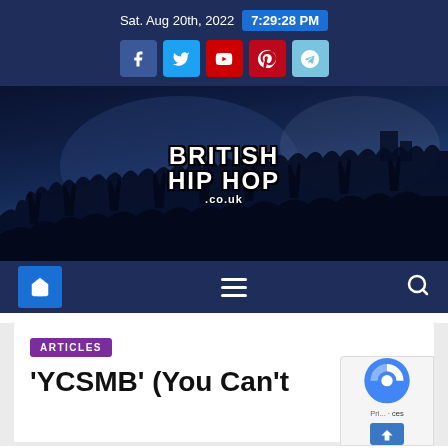Sat. Aug 20th, 2022  7:29:28 PM
[Figure (logo): British Hip Hop .co.uk graffiti-style logo over concert crowd banner image]
[Figure (infographic): Navigation bar with home icon, hamburger menu, and search icon on dark blue background]
ARTICLES
'YCSMB' (You Can't